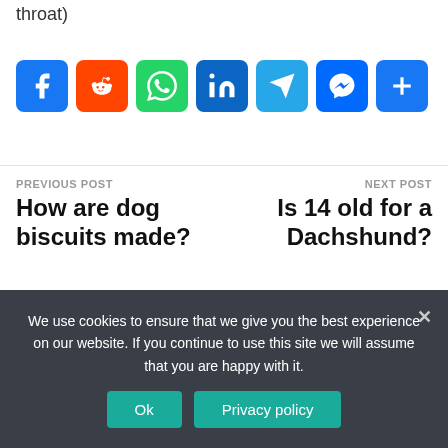throat)
[Figure (infographic): Row of social media share buttons: Facebook, Reddit, WhatsApp, LinkedIn, Telegram, Messenger, and a More (+) button]
PREVIOUS POST
How are dog biscuits made?
NEXT POST
Is 14 old for a Dachshund?
We use cookies to ensure that we give you the best experience on our website. If you continue to use this site we will assume that you are happy with it.
Ok
Privacy policy